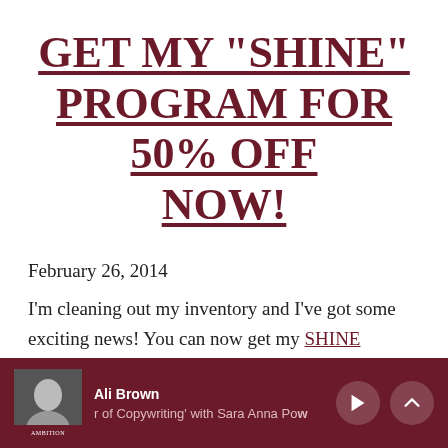GET MY "SHINE" PROGRAM FOR 50% OFF NOW!
February 26, 2014
I'm cleaning out my inventory and I've got some exciting news! You can now get my SHINE Premier Conference for Women
[Figure (screenshot): Media player bar at bottom showing Ali Brown podcast player with thumbnail, name 'Ali Brown', episode text 'r of Copywriting' with Sara Anna Pow', play button and chevron up button]